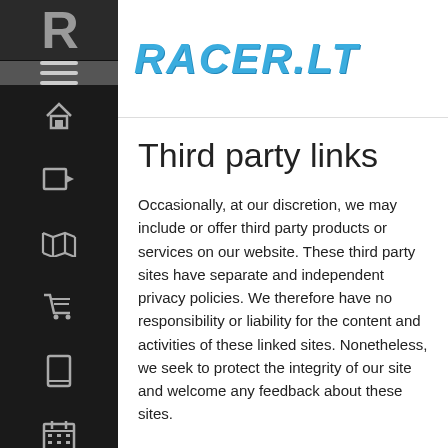RACER.LT
Third party links
Occasionally, at our discretion, we may include or offer third party products or services on our website. These third party sites have separate and independent privacy policies. We therefore have no responsibility or liability for the content and activities of these linked sites. Nonetheless, we seek to protect the integrity of our site and welcome any feedback about these sites.
California Online Privacy